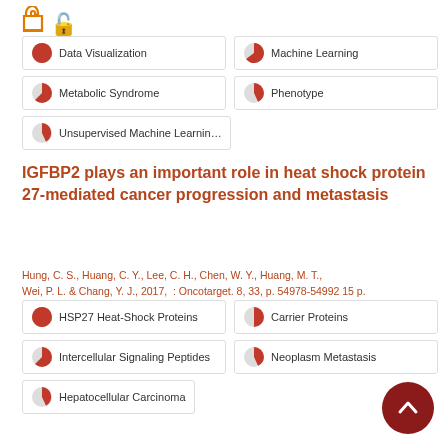[Figure (other): Open access logo - orange lock icon]
Data Visualization
Machine Learning
Metabolic Syndrome
Phenotype
Unsupervised Machine Learning
IGFBP2 plays an important role in heat shock protein 27-mediated cancer progression and metastasis
Hung, C. S., Huang, C. Y., Lee, C. H., Chen, W. Y., Huang, M. T., Wei, P. L. & Chang, Y. J., 2017, : Oncotarget. 8, 33, p. 54978-54992 15 p.
HSP27 Heat-Shock Proteins
Carrier Proteins
Intercellular Signaling Peptides
Neoplasm Metastasis
Hepatocellular Carcinoma